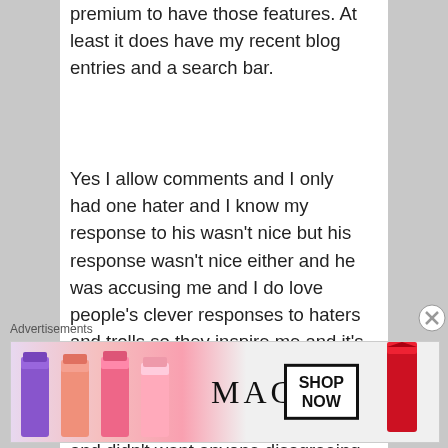premium to have those features. At least it does have my recent blog entries and a search bar.
Yes I allow comments and I only had one hater and I know my response to his wasn't nice but his response wasn't nice either and he was accusing me and I do love people's clever responses to haters and trolls so they inspire me and it's something I enjoy. I did read a blog once I did enjoy but he accused me of leaving him negative comments and didn't want anyone disagreeing with him so I never read his blog
Advertisements
[Figure (photo): MAC Cosmetics advertisement banner showing colorful lipsticks on the left, MAC logo in the center, a SHOP NOW box, and a red lipstick on the right.]